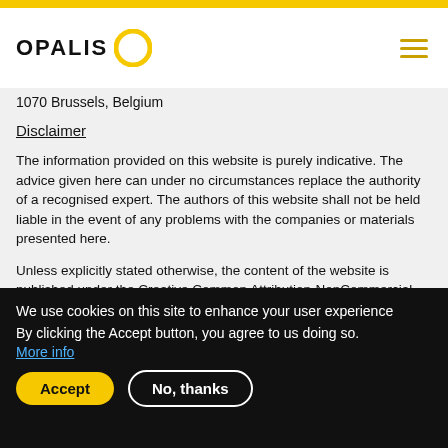[Figure (logo): Opalis logo with yellow circle ring and bold OPALIS text]
1070 Brussels, Belgium
Disclaimer
The information provided on this website is purely indicative. The advice given here can under no circumstances replace the authority of a recognised expert. The authors of this website shall not be held liable in the event of any problems with the companies or materials presented here.
Unless explicitly stated otherwise, the content of the website is published under the Creative Common Attribution-NonCommercial-ShareAlike license (CCBY-NC-SA).
We use cookies on this site to enhance your user experience
By clicking the Accept button, you agree to us doing so.
More info
Accept
No, thanks